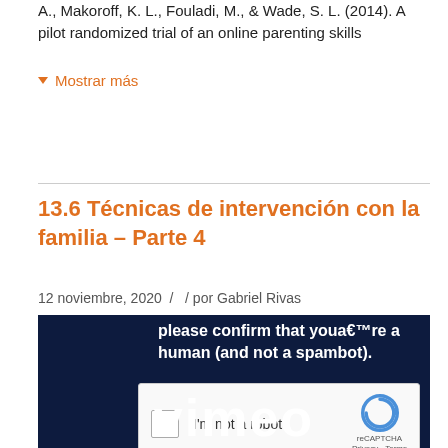A., Makoroff, K. L., Fouladi, M., & Wade, S. L. (2014). A pilot randomized trial of an online parenting skills
▾ Mostrar más
13.6 Técnicas de intervención con la familia – Parte 4
12 noviembre, 2020 /  / por Gabriel Rivas
[Figure (screenshot): Dark navy background with white bold text: 'please confirm that youa€™re a human (and not a spambot).' Below is a reCAPTCHA widget with checkbox 'I'm not a robot' and reCAPTCHA logo. At the bottom partial Vimeo logo text in white.]